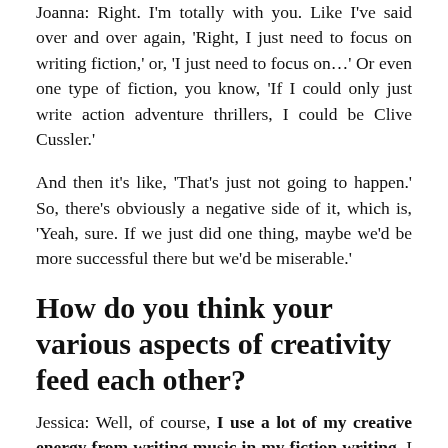Joanna: Right. I'm totally with you. Like I've said over and over again, 'Right, I just need to focus on writing fiction,' or, 'I just need to focus on…' Or even one type of fiction, you know, 'If I could only just write action adventure thrillers, I could be Clive Cussler.'
And then it's like, 'That's just not going to happen.' So, there's obviously a negative side of it, which is, 'Yeah, sure. If we just did one thing, maybe we'd be more successful there but we'd be miserable.'
How do you think your various aspects of creativity feed each other?
Jessica: Well, of course, I use a lot of my creative energy from writing music in my fiction writing. I think that's because music is so emotional as well